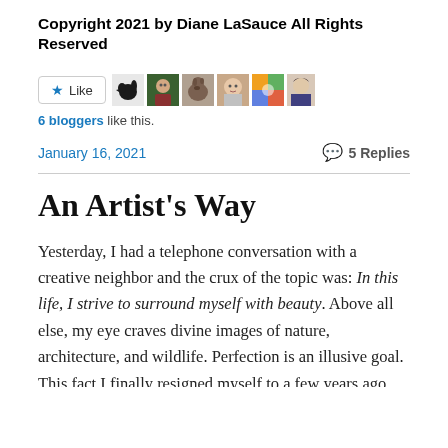Copyright 2021 by Diane LaSauce All Rights Reserved
[Figure (other): Like button with star icon, followed by 6 blogger avatar thumbnails including a bird, person with glasses, horse, woman, colorful image, and dark-haired person]
6 bloggers like this.
January 16, 2021
5 Replies
An Artist's Way
Yesterday, I had a telephone conversation with a creative neighbor and the crux of the topic was: In this life, I strive to surround myself with beauty. Above all else, my eye craves divine images of nature, architecture, and wildlife. Perfection is an illusive goal. This fact I finally resigned myself to a few years ago. Yet, still I strive to surround